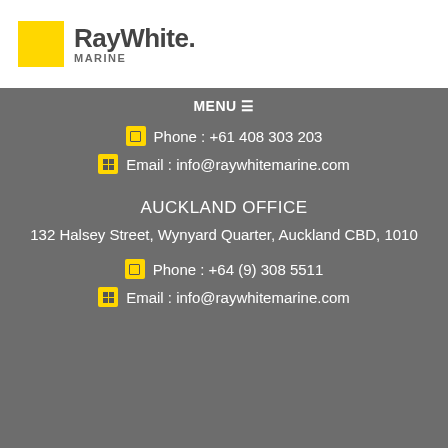[Figure (logo): Ray White Marine logo: yellow square on left, 'RayWhite.' text in dark gray bold, 'MARINE' in smaller gray letters below]
MENU ☰
Phone : +61 408 303 203
Email : info@raywhitemarine.com
AUCKLAND OFFICE
132 Halsey Street, Wynyard Quarter, Auckland CBD, 1010
Phone : +64 (9) 308 5511
Email : info@raywhitemarine.com
© 2022 Ray White Marine. All Rights Reserved. Powered by Boat Deck